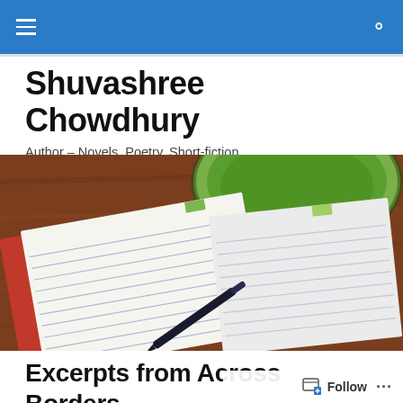Navigation bar with hamburger menu and search icon
Shuvashree Chowdhury
Author – Novels, Poetry, Short-fiction
[Figure (photo): Top-down photo of an open red-covered notebook with ruled pages and a fountain pen, beside a green bowl/cup on a wooden table]
Excerpts from Across Borders, in the words of the protagonist